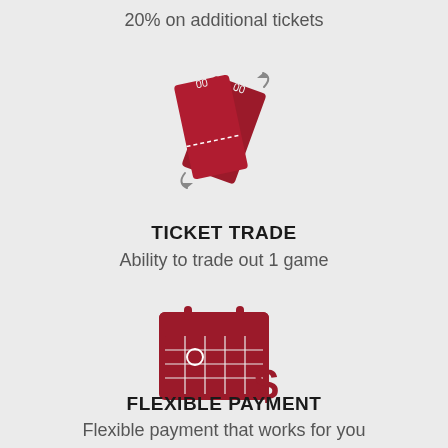20% on additional tickets
[Figure (illustration): Two red tickets overlapping, rotated, with dashed perforation lines and small arrows indicating a trade/swap action]
TICKET TRADE
Ability to trade out 1 game
[Figure (illustration): Red calendar icon with a circled date and a dollar sign overlay, representing flexible payment scheduling]
FLEXIBLE PAYMENT
Flexible payment that works for you